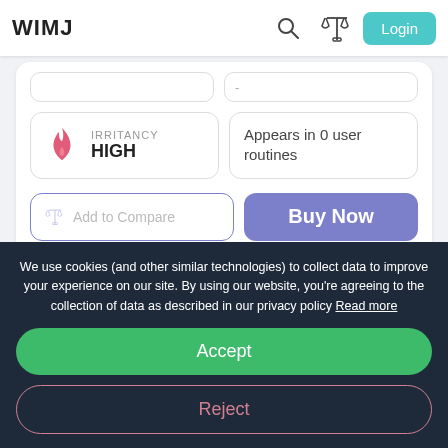WIMJ
[Figure (screenshot): Irritancy HIGH badge with flame icon in a rounded box]
Appears in 0 user routines
Add to Compare
Buy Now
Something wrong? Edit here
We use cookies (and other similar technologies) to collect data to improve your experience on our site. By using our website, you're agreeing to the collection of data as described in our privacy policy Read more
Accept
Reject